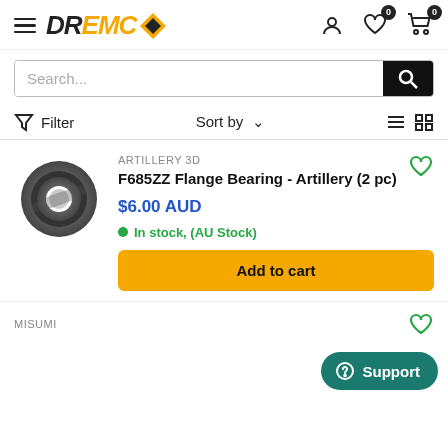[Figure (screenshot): DREMC e-commerce website header with hamburger menu, logo, user account icon, wishlist icon with badge 0, and cart icon with badge 0]
[Figure (screenshot): Search bar with placeholder text 'Search...' and black search button]
Filter   Sort by   [list view icon] [grid view icon]
[Figure (photo): F685ZZ Flange Bearing product photo - circular metal bearing viewed from front]
ARTILLERY 3D
F685ZZ Flange Bearing - Artillery (2 pc)
$6.00 AUD
In stock, (AU Stock)
Add to cart
Support
MISUMI